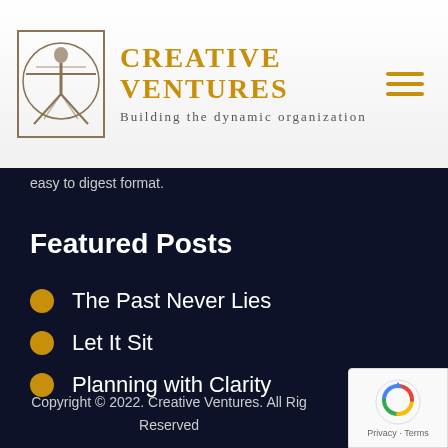Creative Ventures — Building the dynamic organization
easy to digest format.
Featured Posts
The Past Never Lies
Let It Sit
Planning with Clarity
Copyright © 2022. Creative Ventures. All Rights Reserved